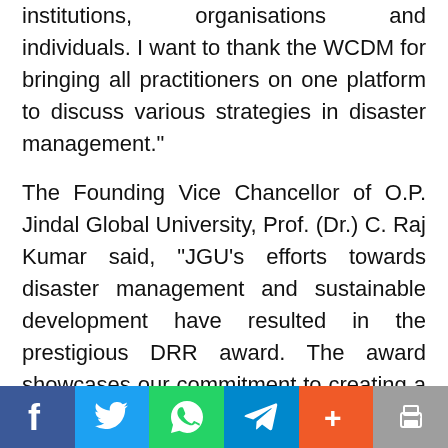institutions, organisations and individuals. I want to thank the WCDM for bringing all practitioners on one platform to discuss various strategies in disaster management."
The Founding Vice Chancellor of O.P. Jindal Global University, Prof. (Dr.) C. Raj Kumar said, "JGU's efforts towards disaster management and sustainable development have resulted in the prestigious DRR award. The award showcases our commitment to creating a world based on sustainable development and having graduates who
[Figure (infographic): Social media sharing bar at the bottom with icons for Facebook (blue), Twitter (light blue), WhatsApp (green), Telegram (blue), Share/Plus (orange-red), and Print (grey)]